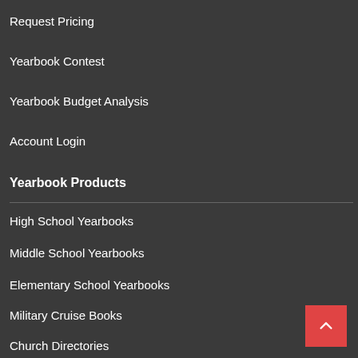Request Pricing
Yearbook Contest
Yearbook Budget Analysis
Account Login
Yearbook Products
High School Yearbooks
Middle School Yearbooks
Elementary School Yearbooks
Military Cruise Books
Church Directories